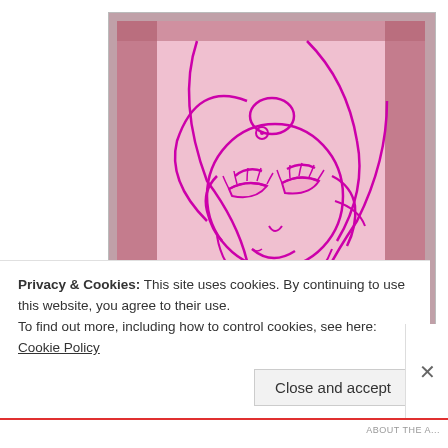[Figure (illustration): A drawing/illustration of Tinker Bell fairy character in pink/magenta outline on a pink background, showing the fairy's face and upper body with large wings. The image appears to be a hand-drawn or stencil-style artwork.]
Privacy & Cookies: This site uses cookies. By continuing to use this website, you agree to their use.
To find out more, including how to control cookies, see here: Cookie Policy
Close and accept